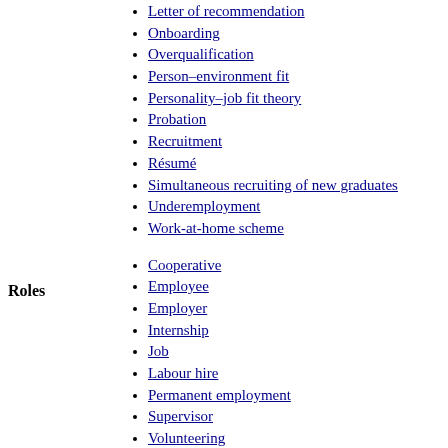Letter of recommendation
Onboarding
Overqualification
Person–environment fit
Personality–job fit theory
Probation
Recruitment
Résumé
Simultaneous recruiting of new graduates
Underemployment
Work-at-home scheme
Roles
Cooperative
Employee
Employer
Internship
Job
Labour hire
Permanent employment
Supervisor
Volunteering
Blue-collar
Green-collar
Grey-collar